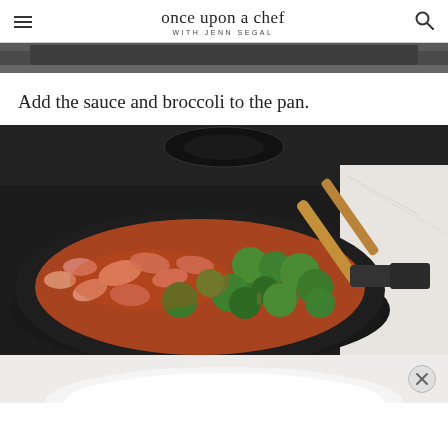once upon a chef | WITH JENN SEGAL
[Figure (photo): Top portion of a cooking photo showing a dark gas stove top, partially cropped]
Add the sauce and broccoli to the pan.
[Figure (photo): A black skillet on a gas stove containing shrimp in orange sauce with fresh broccoli florets, being stirred with a wooden spoon. Marble countertop visible in background.]
[Figure (photo): Bottom portion showing a white bowl, partially visible at bottom of page, with a circular close (X) button overlay]